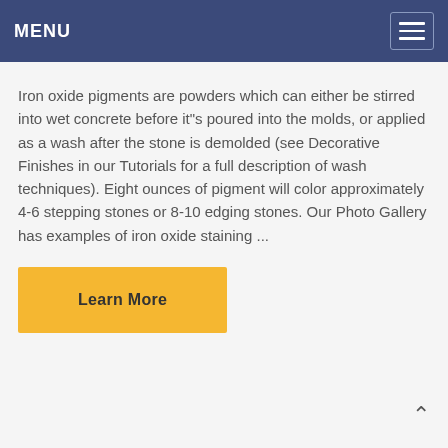MENU
Iron oxide pigments are powders which can either be stirred into wet concrete before it"s poured into the molds, or applied as a wash after the stone is demolded (see Decorative Finishes in our Tutorials for a full description of wash techniques). Eight ounces of pigment will color approximately 4-6 stepping stones or 8-10 edging stones. Our Photo Gallery has examples of iron oxide staining ...
Learn More